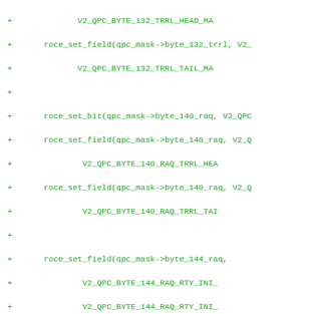[Figure (screenshot): Source code diff showing added lines (green, marked with +) of C code using roce_set_field and roce_set_bit function calls with QPC mask byte fields for byte_132, byte_140, byte_144, byte_148, and byte_152 RAQ/TRRL parameters.]